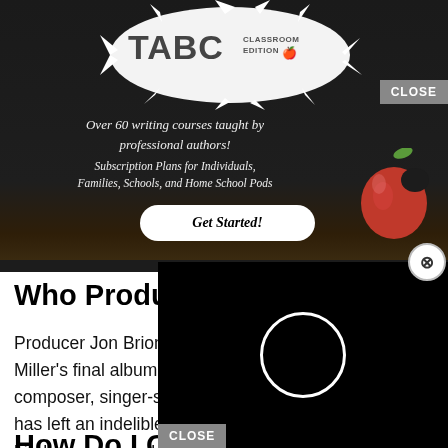[Figure (screenshot): TABC Classroom Edition advertisement banner on dark chalkboard background. Text reads: 'Over 60 writing courses taught by professional authors! Subscription Plans for Individuals, Families, Schools, and Home School Pods'. Has a 'Get Started!' button. CLOSE button visible top right.]
[Figure (screenshot): Black video player overlay with a white loading circle in the center. Has an X close button at top right and a CLOSE button at bottom left.]
Who Produced Mac
Producer Jon Brion on the gutt Miller’s final album after his su composer, singer-songwriter, and session player Jon Brion has left an indelible mark on the face of pop, rock, and hip-hop over nearly 40 years of work.
How Do I Change The Amount Of